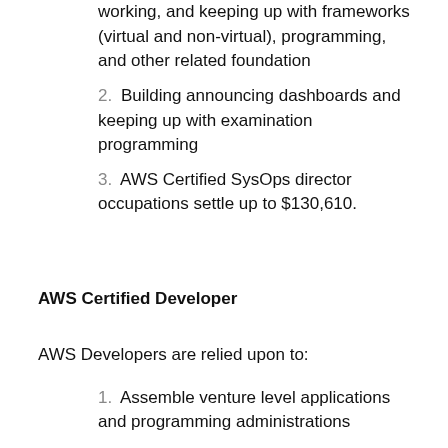working, and keeping up with frameworks (virtual and non-virtual), programming, and other related foundation
2. Building announcing dashboards and keeping up with examination programming
3. AWS Certified SysOps director occupations settle up to $130,610.
AWS Certified Developer
AWS Developers are relied upon to:
1. Assemble venture level applications and programming administrations